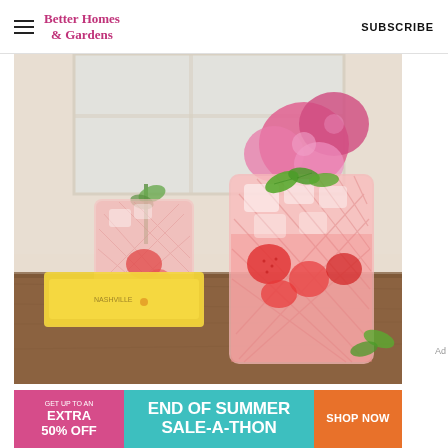Better Homes & Gardens | SUBSCRIBE
[Figure (photo): Two crystal cut glasses filled with pink strawberry drinks with ice and fresh mint garnish, sitting on a wooden table with a yellow book and pink flowers in the background]
Ad
[Figure (infographic): Advertisement banner: GET UP TO AN EXTRA 50% OFF | END OF SUMMER SALE-A-THON | SHOP NOW]